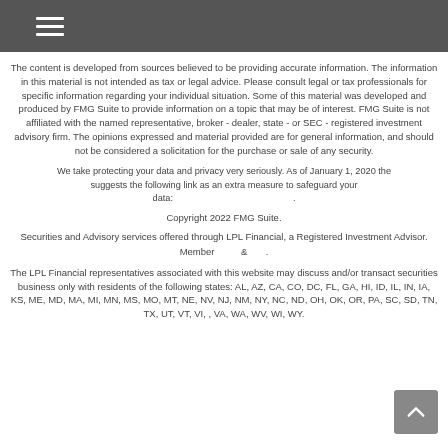Navigation menu
The content is developed from sources believed to be providing accurate information. The information in this material is not intended as tax or legal advice. Please consult legal or tax professionals for specific information regarding your individual situation. Some of this material was developed and produced by FMG Suite to provide information on a topic that may be of interest. FMG Suite is not affiliated with the named representative, broker - dealer, state - or SEC - registered investment advisory firm. The opinions expressed and material provided are for general information, and should not be considered a solicitation for the purchase or sale of any security.
We take protecting your data and privacy very seriously. As of January 1, 2020 the suggests the following link as an extra measure to safeguard your data: .
Copyright 2022 FMG Suite.
Securities and Advisory services offered through LPL Financial, a Registered Investment Advisor. Member & .
The LPL Financial representatives associated with this website may discuss and/or transact securities business only with residents of the following states: AL, AZ, CA, CO, DC, FL, GA, HI, ID, IL, IN, IA, KS, ME, MD, MA, MI, MN, MS, MO, MT, NE, NV, NJ, NM, NY, NC, ND, OH, OK, OR, PA, SC, SD, TN, TX, UT, VT, VI, , VA, WA, WV, WI, WY.